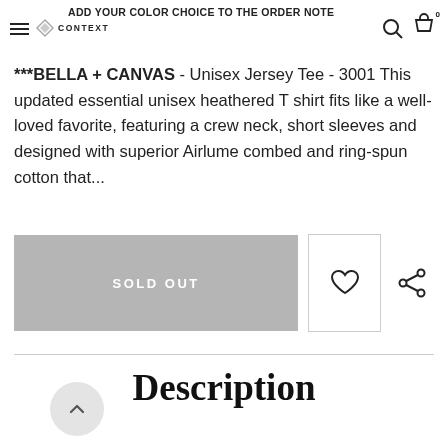ADD YOUR COLOR CHOICE TO THE ORDER NOTE — CONTEXT
***BELLA + CANVAS - Unisex Jersey Tee - 3001 This updated essential unisex heathered T shirt fits like a well-loved favorite, featuring a crew neck, short sleeves and designed with superior Airlume combed and ring-spun cotton that...
[Figure (other): Sold Out button (grey), wishlist heart icon button, and share icon]
Description
[Figure (other): Back to top arrow button (circular grey button with upward chevron)]